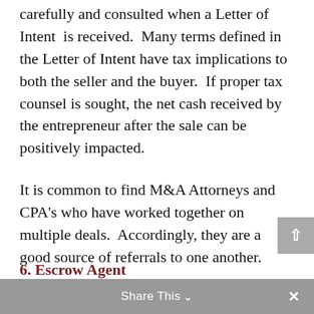carefully and consulted when a Letter of Intent is received. Many terms defined in the Letter of Intent have tax implications to both the seller and the buyer. If proper tax counsel is sought, the net cash received by the entrepreneur after the sale can be positively impacted.
It is common to find M&A Attorneys and CPA's who have worked together on multiple deals. Accordingly, they are a good source of referrals to one another.
6.  Escrow Agent